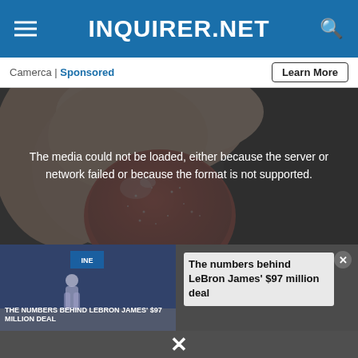INQUIRER.NET
Camerca | Sponsored
Learn More
[Figure (photo): Close-up photo of a red sugary gummy candy being held between two fingers against a dark background]
The media could not be loaded, either because the server or network failed or because the format is not supported.
THE NUMBERS BEHIND LEBRON JAMES' $97 MILLION DEAL
The numbers behind LeBron James' $97 million deal